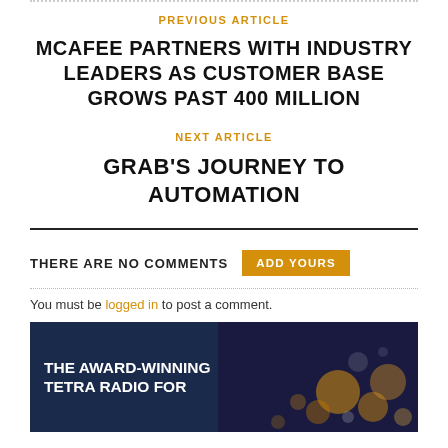PREVIOUS ARTICLE
MCAFEE PARTNERS WITH INDUSTRY LEADERS AS CUSTOMER BASE GROWS PAST 400 MILLION
NEXT ARTICLE
GRAB'S JOURNEY TO AUTOMATION
THERE ARE NO COMMENTS  ADD YOURS
You must be logged in to post a comment.
[Figure (photo): Promotional image with dark blue background and bokeh lights showing text: THE AWARD-WINNING TETRA RADIO FOR]